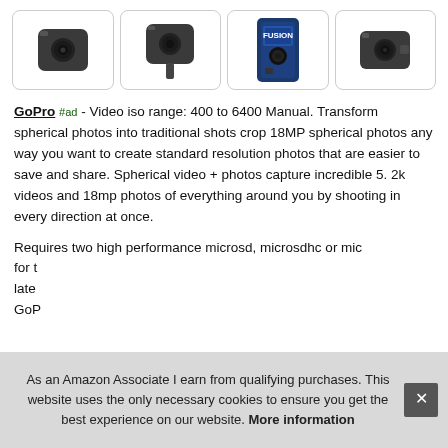[Figure (photo): Four GoPro Fusion cameras shown in a row of product image thumbnails with rounded-corner borders.]
GoPro #ad - Video iso range: 400 to 6400 Manual. Transform spherical photos into traditional shots crop 18MP spherical photos any way you want to create standard resolution photos that are easier to save and share. Spherical video + photos capture incredible 5. 2k videos and 18mp photos of everything around you by shooting in every direction at once.
Requires two high performance microsd, microsdhc or mic for t late GoP
As an Amazon Associate I earn from qualifying purchases. This website uses the only necessary cookies to ensure you get the best experience on our website. More information